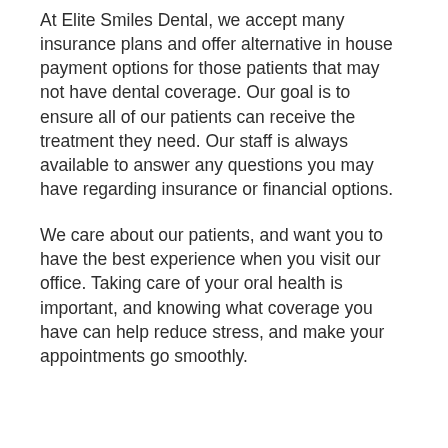At Elite Smiles Dental, we accept many insurance plans and offer alternative in house payment options for those patients that may not have dental coverage. Our goal is to ensure all of our patients can receive the treatment they need. Our staff is always available to answer any questions you may have regarding insurance or financial options.
We care about our patients, and want you to have the best experience when you visit our office. Taking care of your oral health is important, and knowing what coverage you have can help reduce stress, and make your appointments go smoothly.